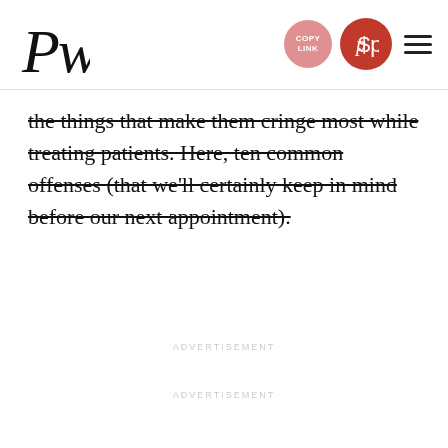PW | COPY LINK | Pinterest | Menu
the things that make them cringe most while treating patients. Here, ten common offenses (that we'll certainly keep in mind before our next appointment).
ADVERTISEMENT
ADVERTISEMENT